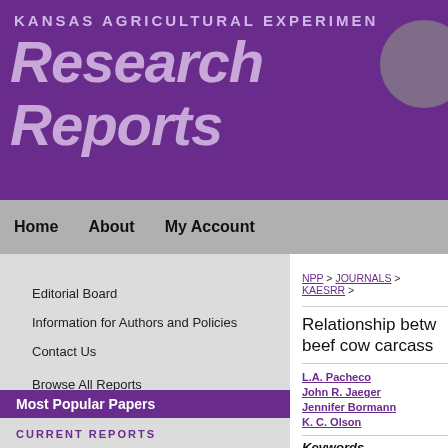KANSAS AGRICULTURAL EXPERIMEN
Research Reports
Home   About   My Account
Editorial Board
Information for Authors and Policies
Contact Us
Browse All Reports
Most Popular Papers
Receive Email Notices or RSS
CURRENT REPORTS
NPP > JOURNALS > KAESRR >
Relationship betw beef cow carcass
L.A. Pacheco
John R. Jaeger
Jennifer Bormann
K. C. Olson
Keywords